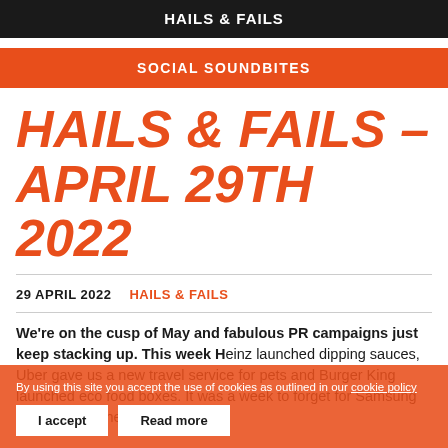HAILS & FAILS
SOCIAL SOUNDBITES
HAILS & FAILS – APRIL 29TH 2022
29 APRIL 2022   HAILS & FAILS
We're on the cusp of May and fabulous PR campaigns just keep stacking up. This week H... sauces, Uber gave us a new travel service for pets and Burger King launched eco food boxes. It was a week to forget for Samsung though, after their...
By using this site you accept the use of cookies as outlined in our cookie policy